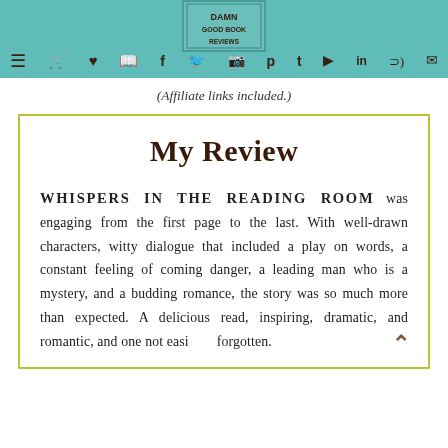(navigation bar with menu icon, cart, wishlist, book, facebook, twitter, instagram, pinterest, tumblr, youtube, linkedin, rss, mail icons)
(Affiliate links included.)
My Review
WHISPERS IN THE READING ROOM was engaging from the first page to the last. With well-drawn characters, witty dialogue that included a play on words, a constant feeling of coming danger, a leading man who is a mystery, and a budding romance, the story was so much more than expected. A delicious read, inspiring, dramatic, and romantic, and one not easily forgotten.